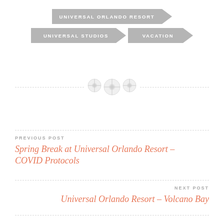[Figure (infographic): Navigation breadcrumb tags/chevrons in gray: UNIVERSAL ORLANDO RESORT on top row, UNIVERSAL STUDIOS and VACATION on second row]
[Figure (infographic): Three decorative button/spool icons centered on a dashed horizontal line divider]
PREVIOUS POST
Spring Break at Universal Orlando Resort – COVID Protocols
NEXT POST
Universal Orlando Resort – Volcano Bay